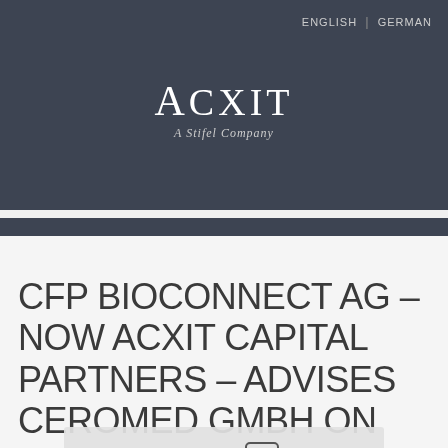ENGLISH | GERMAN
[Figure (logo): ACXIT A Stifel Company logo on dark background]
CFP BIOCONNECT AG – NOW ACXIT CAPITAL PARTNERS – ADVISES CEROMED GMBH ON FINA...